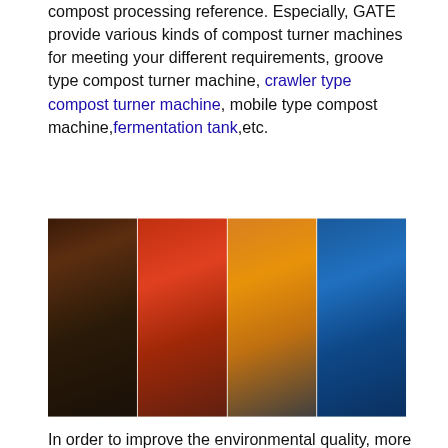compost processing reference. Especially, GATE provide various kinds of compost turner machines for meeting your different requirements, groove type compost turner machine, crawler type compost turner machine, mobile type compost machine, fermentation tank,etc.
[Figure (photo): Four side-by-side photos of compost turner machines and fermentation equipment: a groove type compost turner with dark compost material, a red crawler/mobile compost turner machine in a factory, an orange/yellow crawler type compost turner machine, and a large blue vertical fermentation tank.]
In order to improve the environmental quality, more and more countries pay attention to how to deal with the waste without causing pollution. Now, here is the good news that the compost making machine could make the organic wastes into organic fertilizers. To be honest, compost turner is one type of composting equipment. Under the aerobic conditions, it can help the microorganism to quickly decompose the organic wastes in the fermentation process by mixing the raw